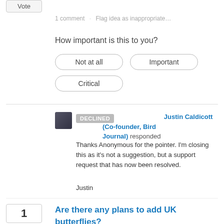1 comment · Flag idea as inappropriate…
How important is this to you?
Not at all
Important
Critical
DECLINED · Justin Caldicott (Co-founder, Bird Journal) responded
Thanks Anonymous for the pointer. I'm closing this as it's not a suggestion, but a support request that has now been resolved.

Justin
Are there any plans to add UK butterflies?